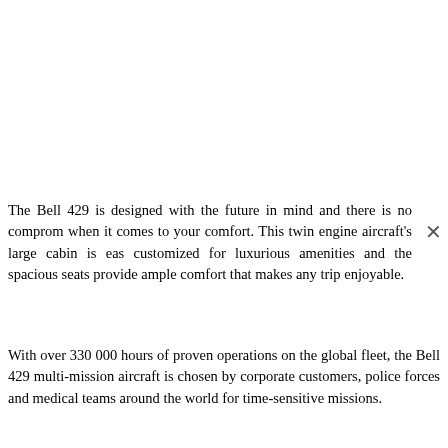The Bell 429 is designed with the future in mind and there is no comprom when it comes to your comfort. This twin engine aircraft's large cabin is eas customized for luxurious amenities and the spacious seats provide ample comfort that makes any trip enjoyable.
With over 330 000 hours of proven operations on the global fleet, the Bell 429 multi-mission aircraft is chosen by corporate customers, police forces and medical teams around the world for time-sensitive missions.
This article is listed in :
United Arab Emirates
Bell 429
Dubai Intl